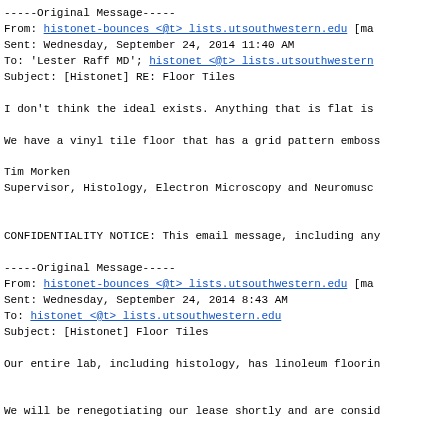-----Original Message-----
From: histonet-bounces <@t> lists.utsouthwestern.edu [ma
Sent: Wednesday, September 24, 2014 11:40 AM
To: 'Lester Raff MD'; histonet <@t> lists.utsouthwestern
Subject: [Histonet] RE: Floor Tiles
I don't think the ideal exists. Anything that is flat is
We have a vinyl tile floor that has a grid pattern emboss
Tim Morken
Supervisor, Histology, Electron Microscopy and Neuromuscu
CONFIDENTIALITY NOTICE: This email message, including any
-----Original Message-----
From: histonet-bounces <@t> lists.utsouthwestern.edu [ma
Sent: Wednesday, September 24, 2014 8:43 AM
To: histonet <@t> lists.utsouthwestern.edu
Subject: [Histonet] Floor Tiles
Our entire lab, including histology, has linoleum floorin
We will be renegotiating our lease shortly and are consid
Thanks,